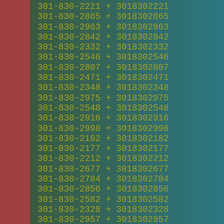| Formatted Number | + | Raw Number |
| --- | --- | --- |
| 301-830-2221 | + | 3018302221 |
| 301-830-2865 | + | 3018302865 |
| 301-830-2963 | + | 3018302963 |
| 301-830-2842 | + | 3018302842 |
| 301-830-2332 | + | 3018302332 |
| 301-830-2546 | + | 3018302546 |
| 301-830-2807 | + | 3018302807 |
| 301-830-2471 | + | 3018302471 |
| 301-830-2348 | + | 3018302348 |
| 301-830-2975 | + | 3018302975 |
| 301-830-2548 | + | 3018302548 |
| 301-830-2916 | + | 3018302916 |
| 301-830-2998 | + | 3018302998 |
| 301-830-2182 | + | 3018302182 |
| 301-830-2177 | + | 3018302177 |
| 301-830-2212 | + | 3018302212 |
| 301-830-2677 | + | 3018302677 |
| 301-830-2784 | + | 3018302784 |
| 301-830-2856 | + | 3018302856 |
| 301-830-2582 | + | 3018302582 |
| 301-830-2328 | + | 3018302328 |
| 301-830-2957 | + | 3018302957 |
| 301-830-2792 | + | 3018302792 |